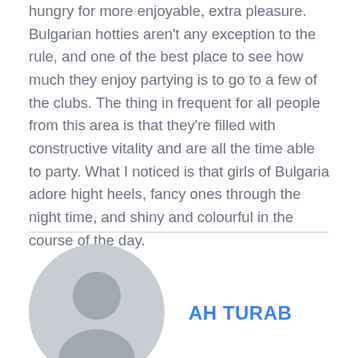hungry for more enjoyable, extra pleasure. Bulgarian hotties aren't any exception to the rule, and one of the best place to see how much they enjoy partying is to go to a few of the clubs. The thing in frequent for all people from this area is that they're filled with constructive vitality and are all the time able to party. What I noticed is that girls of Bulgaria adore hight heels, fancy ones through the night time, and shiny and colourful in the course of the day.
[Figure (illustration): Generic gray user avatar icon — circular silhouette with head and shoulders]
AH TURAB